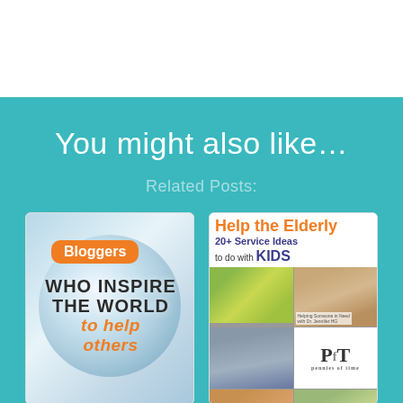You might also like…
Related Posts:
[Figure (illustration): Blog post thumbnail: Bloggers WHO INSPIRE THE WORLD to help others]
[Figure (illustration): Blog post thumbnail: Help the Elderly 20+ Service Ideas to do with KIDS]